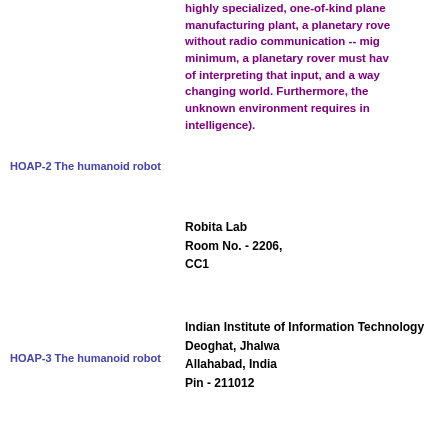highly specialized, one-of-kind plane manufacturing plant, a planetary rove without radio communication -- mi minimum, a planetary rover must ha of interpreting that input, and a wa changing world. Furthermore, the unknown environment requires i intelligence).
HOAP-2 The humanoid robot
Robita Lab
Room No. - 2206,
CC1
Indian Institute of Information Technology Deoghat, Jhalwa
Allahabad, India
Pin - 211012
HOAP-3 The humanoid robot